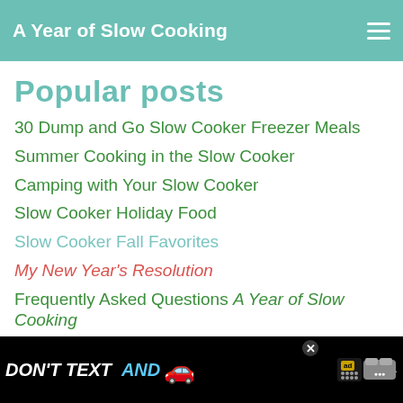A Year of Slow Cooking
Popular posts
30 Dump and Go Slow Cooker Freezer Meals
Summer Cooking in the Slow Cooker
Camping with Your Slow Cooker
Slow Cooker Holiday Food
Slow Cooker Fall Favorites
My New Year's Resolution
Frequently Asked Questions A Year of Slow Cooking
Help! My Slow Cooker Cooks Too Fast!
Save Money By Using Your Slow Cooker
The Slow Cooker Diet
[Figure (screenshot): Advertisement banner: DON'T TEXT AND [car illustration] with NHTSA branding and ad badge]